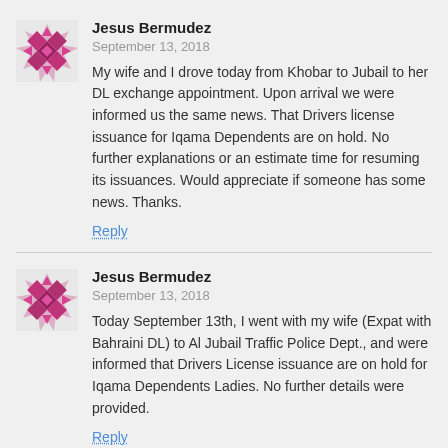[Figure (illustration): Geometric diamond/star avatar icon in magenta and purple colors]
Jesus Bermudez
September 13, 2018
My wife and I drove today from Khobar to Jubail to her DL exchange appointment. Upon arrival we were informed us the same news. That Drivers license issuance for Iqama Dependents are on hold. No further explanations or an estimate time for resuming its issuances. Would appreciate if someone has some news. Thanks.
Reply
[Figure (illustration): Geometric diamond/star avatar icon in magenta and purple colors]
Jesus Bermudez
September 13, 2018
Today September 13th, I went with my wife (Expat with Bahraini DL) to Al Jubail Traffic Police Dept., and were informed that Drivers License issuance are on hold for Iqama Dependents Ladies. No further details were provided.
Reply